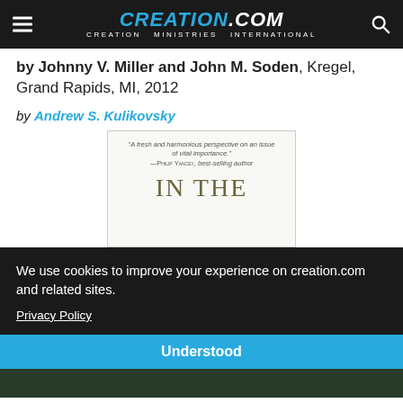CREATION.com — CREATION MINISTRIES INTERNATIONAL
by Johnny V. Miller and John M. Soden, Kregel, Grand Rapids, MI, 2012
by Andrew S. Kulikovsky
[Figure (photo): Book cover showing 'IN THE' text with quote from Philip Yancey: 'A fresh and harmonious perspective on an issue of vital importance.' — Philip Yancey, best-selling author]
We use cookies to improve your experience on creation.com and related sites.
Privacy Policy
Understood